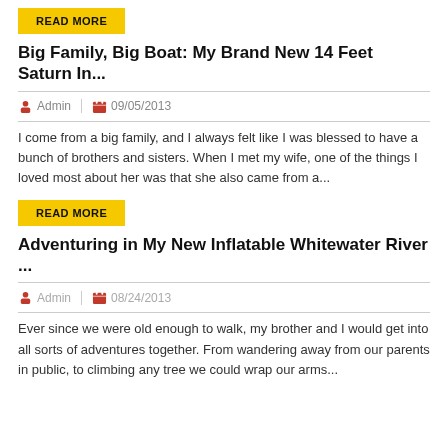READ MORE
Big Family, Big Boat: My Brand New 14 Feet Saturn In...
Admin  09/05/2013
I come from a big family, and I always felt like I was blessed to have a bunch of brothers and sisters. When I met my wife, one of the things I loved most about her was that she also came from a...
READ MORE
Adventuring in My New Inflatable Whitewater River ...
Admin  08/24/2013
Ever since we were old enough to walk, my brother and I would get into all sorts of adventures together. From wandering away from our parents in public, to climbing any tree we could wrap our arms...